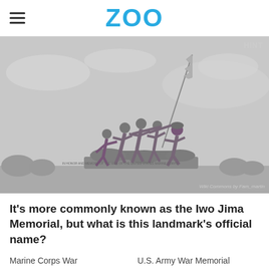ZOO
[Figure (photo): Grayscale photograph of the Iwo Jima Memorial (Marine Corps War Memorial) statue showing soldiers raising the American flag, with text 'HINT' in upper right and 'Wiki Commons by Fam_martin' credit in lower right.]
It's more commonly known as the Iwo Jima Memorial, but what is this landmark's official name?
Marine Corps War
U.S. Army War Memorial